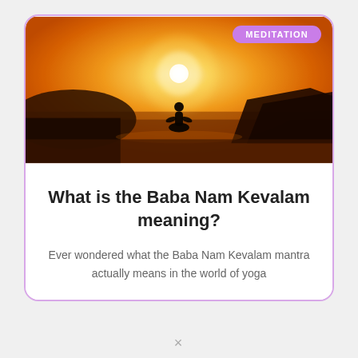[Figure (photo): A silhouette of a person meditating at sunset with warm golden and orange sky tones and rocky landscape in the background.]
What is the Baba Nam Kevalam meaning?
Ever wondered what the Baba Nam Kevalam mantra actually means in the world of yoga